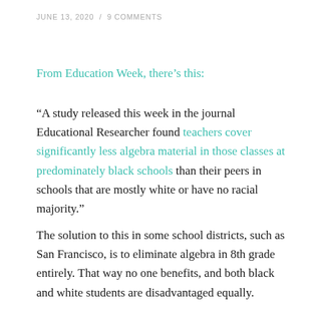JUNE 13, 2020 / 9 COMMENTS
From Education Week, there’s this:
“A study released this week in the journal Educational Researcher found teachers cover significantly less algebra material in those classes at predominately black schools than their peers in schools that are mostly white or have no racial majority.”
The solution to this in some school districts, such as San Francisco, is to eliminate algebra in 8th grade entirely. That way no one benefits, and both black and white students are disadvantaged equally.